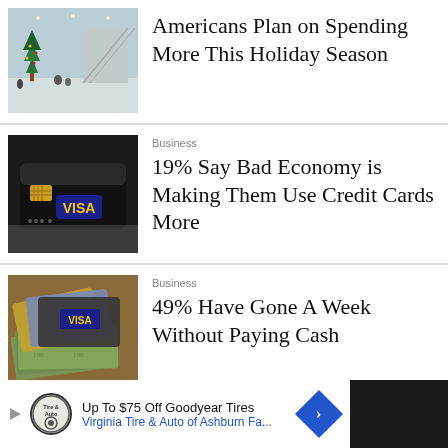[Figure (photo): Mall interior with Christmas tree and shoppers on escalator]
Americans Plan on Spending More This Holiday Season
[Figure (photo): Black Visa credit card close-up on white background]
Business
19% Say Bad Economy is Making Them Use Credit Cards More
[Figure (photo): Pile of credit cards and US dollar bills]
Business
49% Have Gone A Week Without Paying Cash
Up To $75 Off Goodyear Tires Virginia Tire & Auto of Ashburn Fa...